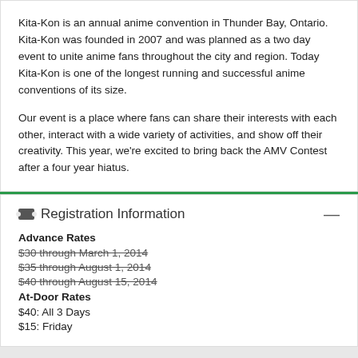Kita-Kon is an annual anime convention in Thunder Bay, Ontario. Kita-Kon was founded in 2007 and was planned as a two day event to unite anime fans throughout the city and region. Today Kita-Kon is one of the longest running and successful anime conventions of its size.
Our event is a place where fans can share their interests with each other, interact with a wide variety of activities, and show off their creativity. This year, we're excited to bring back the AMV Contest after a four year hiatus.
Registration Information
Advance Rates
$30 through March 1, 2014
$35 through August 1, 2014
$40 through August 15, 2014
At-Door Rates
$40: All 3 Days
$15: Friday